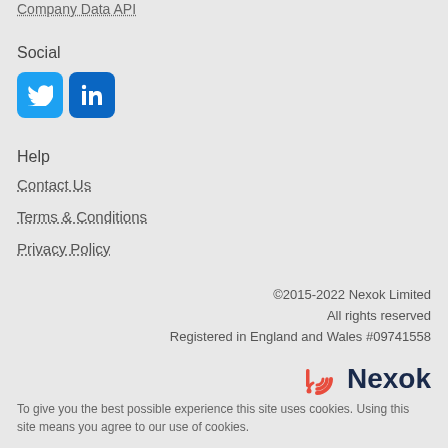Company Data API
Social
[Figure (other): Twitter and LinkedIn social media icons]
Help
Contact Us
Terms & Conditions
Privacy Policy
©2015-2022 Nexok Limited
All rights reserved
Registered in England and Wales #09741558
[Figure (logo): Nexok logo with orange spiral icon and dark blue Nexok text]
To give you the best possible experience this site uses cookies. Using this site means you agree to our use of cookies.